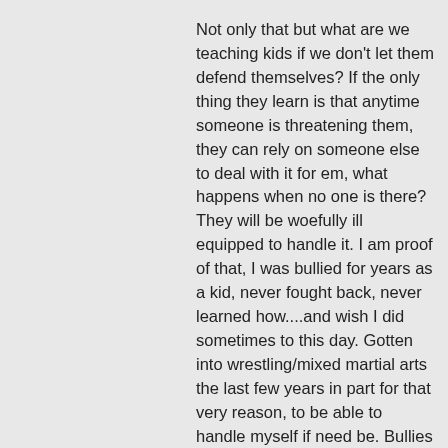Not only that but what are we teaching kids if we don't let them defend themselves? If the only thing they learn is that anytime someone is threatening them, they can rely on someone else to deal with it for em, what happens when no one is there? They will be woefully ill equipped to handle it. I am proof of that, I was bullied for years as a kid, never fought back, never learned how....and wish I did sometimes to this day. Gotten into wrestling/mixed martial arts the last few years in part for that very reason, to be able to handle myself if need be. Bullies don't learn anything either I might add if they're not allowed to get a taste of what they dish out. So both